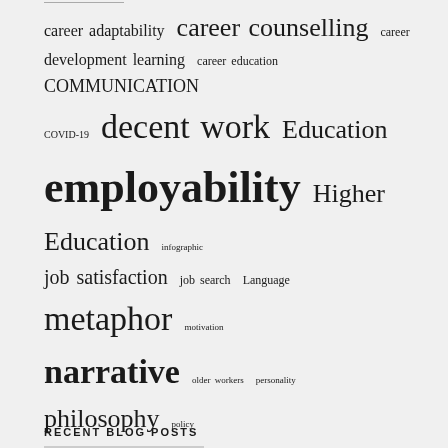[Figure (infographic): Tag cloud featuring career and education related terms in varying font sizes indicating frequency/importance. Terms include: career adaptability, career counselling, career development learning, career education, COMMUNICATION, COVID-19, decent work, Education, employability, Higher Education, infographic, job satisfaction, job search, Language, metaphor, motivation, narrative, older workers, personality, philosophy, policy, psychology of working, research, Resources, retirees, retirement, STEM, stress management, teachers, theory, unemployment, Wine]
RECENT BLOG POSTS